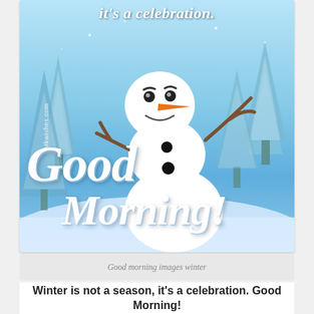[Figure (illustration): Olaf the snowman from Frozen, dancing joyfully in a snowy winter scene with snow-covered pine trees. The image has text overlay 'it's a celebration.' at the top and 'Good Morning!' in large italic white letters at the bottom. Watermark reads 'Mkwishes.com'.]
Good morning images winter
Winter is not a season, it's a celebration. Good Morning!